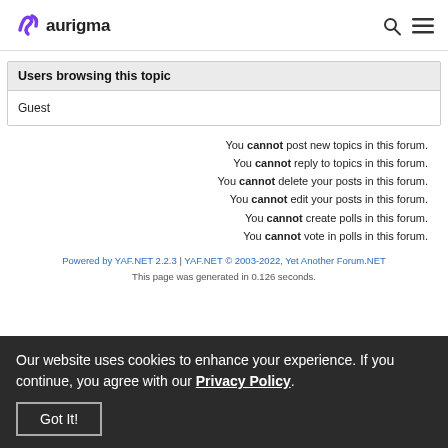aurigma
| Users browsing this topic |
| --- |
| Guest |
You cannot post new topics in this forum.
You cannot reply to topics in this forum.
You cannot delete your posts in this forum.
You cannot edit your posts in this forum.
You cannot create polls in this forum.
You cannot vote in polls in this forum.
Powered by YAF.NET 2.2.3 | YAF.NET © 2003-2022, Yet Another Forum.NET
This page was generated in 0.126 seconds.
Our website uses cookies to enhance your experience. If you continue, you agree with our Privacy Policy.
Got It!